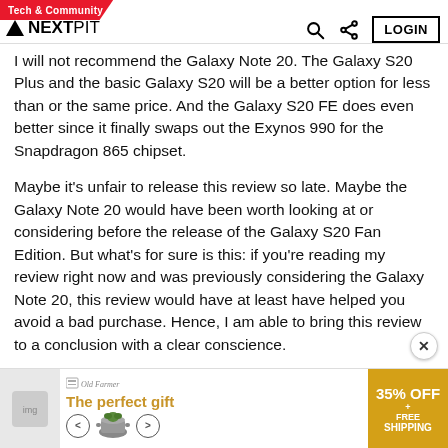Tech & Community — NEXTPIT
I will not recommend the Galaxy Note 20. The Galaxy S20 Plus and the basic Galaxy S20 will be a better option for less than or the same price. And the Galaxy S20 FE does even better since it finally swaps out the Exynos 990 for the Snapdragon 865 chipset.
Maybe it's unfair to release this review so late. Maybe the Galaxy Note 20 would have been worth looking at or considering before the release of the Galaxy S20 Fan Edition. But what's for sure is this: if you're reading my review right now and was previously considering the Galaxy Note 20, this review would have at least have helped you avoid a bad purchase. Hence, I am able to bring this review to a conclusion with a clear conscience.
[Figure (infographic): Advertisement banner: 'The perfect gift' with 35% OFF + FREE SHIPPING offer from Old Farmer brand, showing a cooking pot/bowl product with navigation arrows]